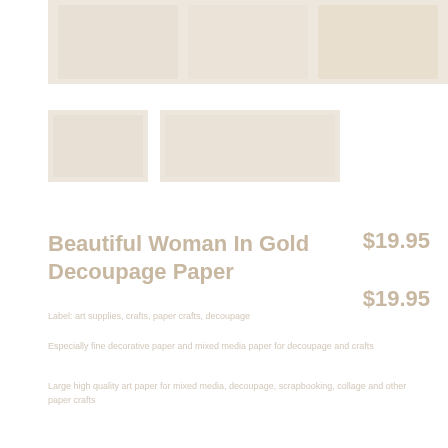[Figure (photo): Top banner product image showing decoupage paper with woman in gold motif]
[Figure (photo): Small left thumbnail of decoupage paper product]
[Figure (photo): Small right thumbnail showing detail of decoupage paper design]
Beautiful Woman In Gold Decoupage Paper
$19.95
$19.95
Label: art supplies, crafts, paper crafts, decoupage
Especially fine decorative paper and mixed media paper for decoupage and crafts
Large high quality art paper for mixed media, decoupage, scrapbooking, collage and other paper crafts